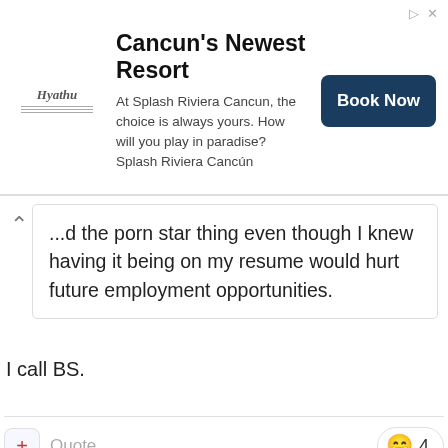[Figure (screenshot): Advertisement banner for Cancun's Newest Resort - Splash Riviera Cancun, with Hyatt logo, descriptive text, and a dark teal 'Book Now' button]
...d the porn star thing even though I knew having it being on my resume would hurt future employment opportunities.
I call BS.
Quote
4
IU Scott
Posted May 24
On 5/24/2022 at 5:57 PM, 5fouls said: